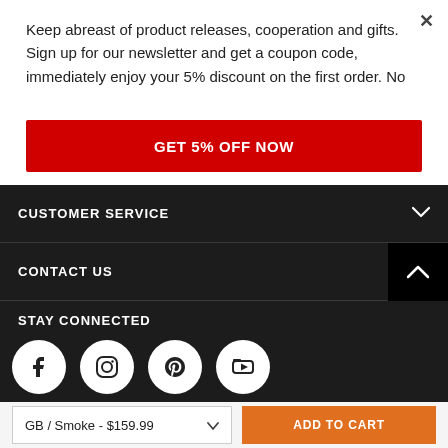Keep abreast of product releases, cooperation and gifts. Sign up for our newsletter and get a coupon code, immediately enjoy your 5% discount on the first order. No
GET 5% OFF NOW
CUSTOMER SERVICE
CONTACT US
STAY CONNECTED
[Figure (other): Social media icons row: Facebook, Instagram, Pinterest, YouTube]
GB / Smoke - $159.99
ADD TO CART